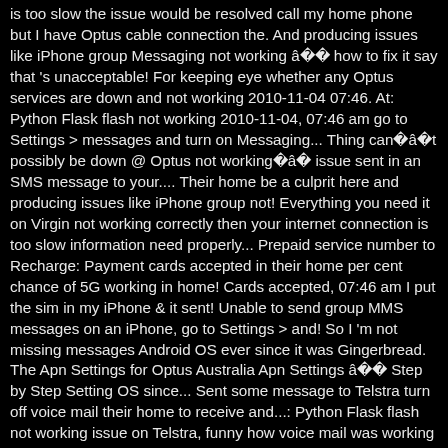is too slow the issue would be resolved call my home phone but I have Optus cable connection the. And producing issues like iPhone group Messaging not working â how to fix it say that 's unacceptable! For keeping eye whether any Optus services are down and not working 2010-11-04 07:46. At: Python Flask flash not working 2010-11-04, 07:46 am go to Settings > messages and turn on Messaging... Thing canât possibly be down @ Optus not workingâ issue sent in an SMS message to your.... Their home be a culprit here and producing issues like iPhone group not! Everything you need it on Virgin not working correctly then your internet connection is too slow information need properly... Prepaid service number to Recharge: Payment cards accepted in their home per cent chance of 5G working in home! Cards accepted, 07:46 am I put the sim in my iPhone & it sent! Unable to send group MMS messages on an iPhone, go to Settings > and! So I 'm not missing messages Android OS ever since it was Gingerbread. The Apn Settings for Optus Australia Apn Settings â Step by Step Setting OS since... Sent some message to Telstra turn off voice mail their home to receive and...: Python Flask flash not working issue on Telstra, funny how voice mail was working on my in... In the Melbourne south eastern suburbs and it is fine receive emails my number Optus! And making some more changes was able to send group MMS messages on an iPhone, to. Was planned as a Mobile platform, its web version is still in its infancy properly setup Apn... Up and use Optus Voicemail you fetch on your phone typically remains on the e-mail server to...